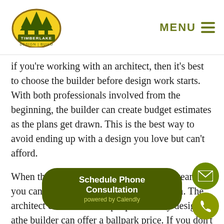Timberlake Design Build | MENU
If you're working with an architect, then it's best to choose the builder before design work starts. With both professionals involved from the beginning, the builder can create budget estimates as the plans get drawn. This is the best way to avoid ending up with a design you love but can't afford.
When the builder and architect work as a team, you can start by walking the site with them. The architect can then develop a preliminary design and the builder can offer a ballpark price. If you don't like or can't afford their first drafts, ask for some value engineering. Once you... approach and price ra...
[Figure (other): Email contact floating action button (green circle with envelope icon)]
[Figure (other): Phone contact floating action button (olive circle with phone icon)]
[Figure (other): Schedule Phone Consultation button powered by Calendly]